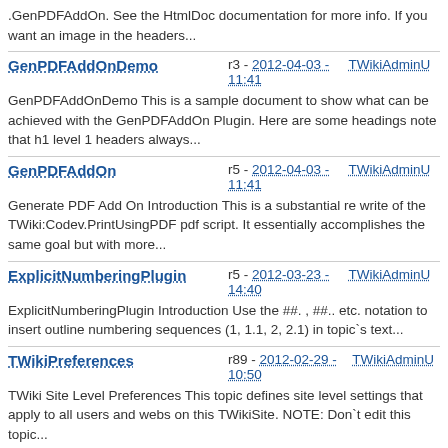.GenPDFAddOn. See the HtmlDoc documentation for more info. If you want an image in the headers...
GenPDFAddOnDemo  r3 - 2012-04-03 - 11:41  TWikiAdminU...
GenPDFAddOnDemo This is a sample document to show what can be achieved with the GenPDFAddOn Plugin. Here are some headings note that h1 level 1 headers always...
GenPDFAddOn  r5 - 2012-04-03 - 11:41  TWikiAdminU...
Generate PDF Add On Introduction This is a substantial re write of the TWiki:Codev.PrintUsingPDF pdf script. It essentially accomplishes the same goal but with more...
ExplicitNumberingPlugin  r5 - 2012-03-23 - 14:40  TWikiAdminU...
ExplicitNumberingPlugin Introduction Use the ##. , ##.. etc. notation to insert outline numbering sequences (1, 1.1, 2, 2.1) in topic`s text...
TWikiPreferences  r89 - 2012-02-29 - 10:50  TWikiAdminU...
TWiki Site Level Preferences This topic defines site level settings that apply to all users and webs on this TWikiSite. NOTE: Don`t edit this topic...
WebTopicViewTemplate  r16 - 2011-08-12 -  TWikiContrib...